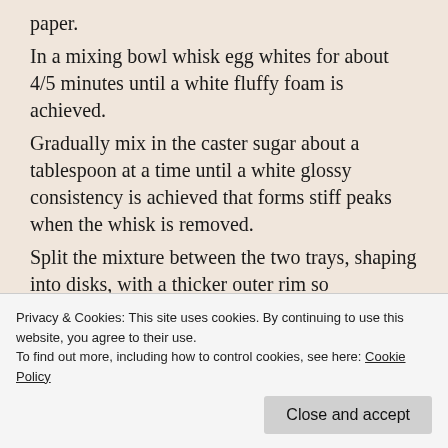paper.
In a mixing bowl whisk egg whites for about 4/5 minutes until a white fluffy foam is achieved.
Gradually mix in the caster sugar about a tablespoon at a time until a white glossy consistency is achieved that forms stiff peaks when the whisk is removed.
Split the mixture between the two trays, shaping into disks, with a thicker outer rim so
Privacy & Cookies: This site uses cookies. By continuing to use this website, you agree to their use.
To find out more, including how to control cookies, see here: Cookie Policy